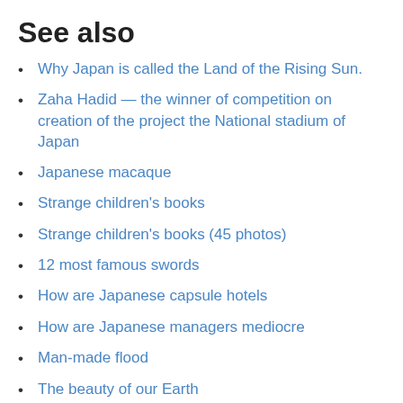See also
Why Japan is called the Land of the Rising Sun.
Zaha Hadid — the winner of competition on creation of the project the National stadium of Japan
Japanese macaque
Strange children's books
Strange children's books (45 photos)
12 most famous swords
How are Japanese capsule hotels
How are Japanese managers mediocre
Man-made flood
The beauty of our Earth
New and interesting